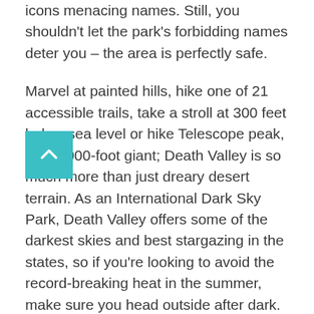icons menacing names. Still, you shouldn't let the park's forbidding names deter you – the area is perfectly safe.
Marvel at painted hills, hike one of 21 accessible trails, take a stroll at 300 feet below sea level or hike Telescope peak, an 11,000-foot giant; Death Valley is so much more than just dreary desert terrain. As an International Dark Sky Park, Death Valley offers some of the darkest skies and best stargazing in the states, so if you're looking to avoid the record-breaking heat in the summer, make sure you head outside after dark.
There are four lodges, nine